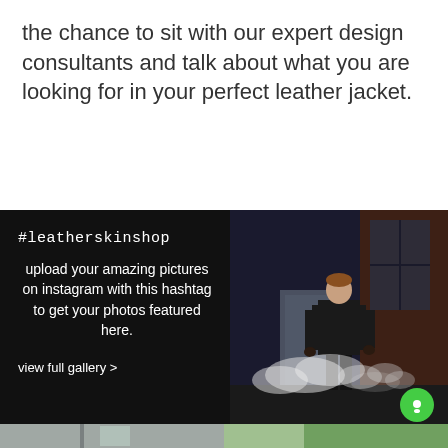the chance to sit with our expert design consultants and talk about what you are looking for in your perfect leather jacket.
#leatherskinshop
upload your amazing pictures on instagram with this hashtag to get your photos featured here.
view full gallery >
[Figure (photo): Man in a black leather jacket standing in an industrial alley holding a smoke bomb with white smoke trailing behind him]
[Figure (photo): Partial view of two photos in a gallery strip at the bottom of the page]